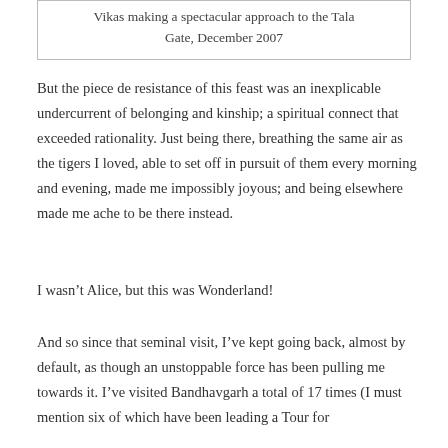Vikas making a spectacular approach to the Tala Gate, December 2007
But the piece de resistance of this feast was an inexplicable undercurrent of belonging and kinship; a spiritual connect that exceeded rationality. Just being there, breathing the same air as the tigers I loved, able to set off in pursuit of them every morning and evening, made me impossibly joyous; and being elsewhere made me ache to be there instead.
I wasn’t Alice, but this was Wonderland!
And so since that seminal visit, I’ve kept going back, almost by default, as though an unstoppable force has been pulling me towards it. I’ve visited Bandhavgarh a total of 17 times (I must mention six of which have been leading a Tour for